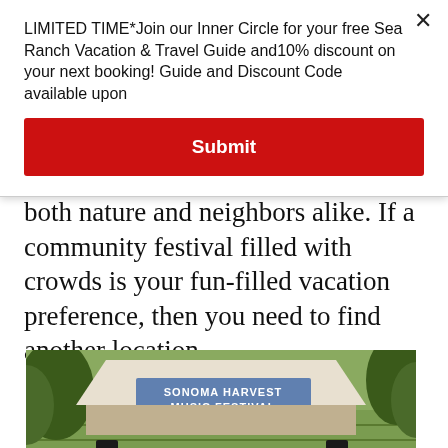LIMITED TIME*Join our Inner Circle for your free Sea Ranch Vacation & Travel Guide and10% discount on your next booking! Guide and Discount Code available upon
Submit
both nature and neighbors alike. If a community festival filled with crowds is your fun-filled vacation preference, then you need to find another location.
[Figure (photo): Outdoor festival scene showing the Sonoma Harvest Music Festival stage with a large banner reading 'SONOMA HARVEST MUSIC FESTIVAL', surrounded by trees and vineyard rows in the background, with speakers and crowd visible.]